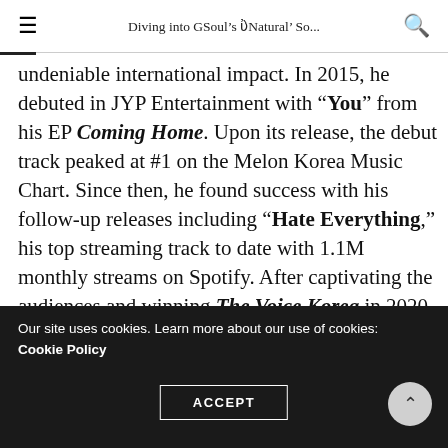Diving into GSoul's ‘Natural’ So...
undeniable international impact. In 2015, he debuted in JYP Entertainment with “You” from his EP Coming Home. Upon its release, the debut track peaked at #1 on the Melon Korea Music Chart. Since then, he found success with his follow-up releases including “Hate Everything,” his top streaming track to date with 1.1M monthly streams on Spotify. After captivating the audiences and winning The Voice Korea in 2020, GSoul further secured a loyal and dedicated fan base. His English EP, Natural, is a thank
Our site uses cookies. Learn more about our use of cookies: Cookie Policy
ACCEPT